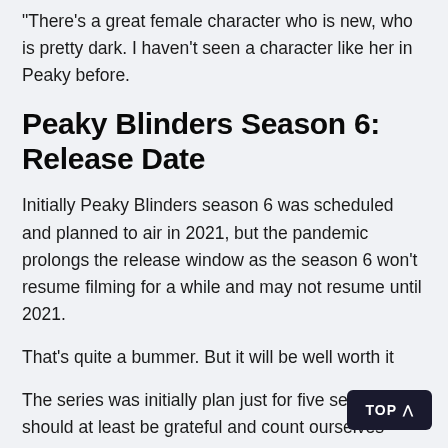"There's a great female character who is new, who is pretty dark. I haven't seen a character like her in Peaky before.
Peaky Blinders Season 6: Release Date
Initially Peaky Blinders season 6 was scheduled and planned to air in 2021, but the pandemic prolongs the release window as the season 6 won't resume filming for a while and may not resume until 2021.
That's quite a bummer. But it will be well worth it
The series was initially plan just for five series, so should at least be grateful and count ourselves